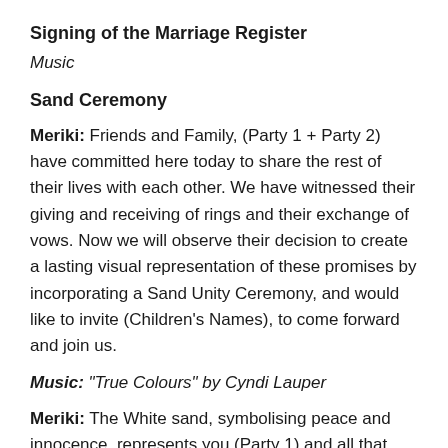Signing of the Marriage Register
Music
Sand Ceremony
Meriki: Friends and Family, (Party 1 + Party 2) have committed here today to share the rest of their lives with each other. We have witnessed their giving and receiving of rings and their exchange of vows. Now we will observe their decision to create a lasting visual representation of these promises by incorporating a Sand Unity Ceremony, and would like to invite (Children's Names), to come forward and join us.
Music: “True Colours” by Cyndi Lauper
Meriki: The White sand, symbolising peace and innocence, represents you (Party 1) and all that you